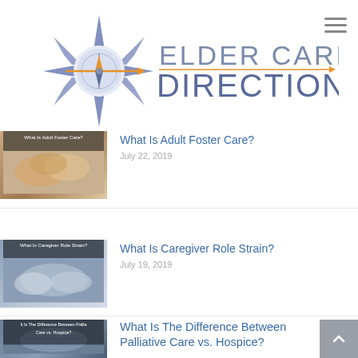[Figure (logo): Elder Care Direction logo with compass rose graphic and orange arrow, text reads ELDER CARE DIRECTION]
What Is Adult Foster Care?
July 22, 2019
What Is Caregiver Role Strain?
July 19, 2019
What Is The Difference Between Palliative Care vs. Hospice?